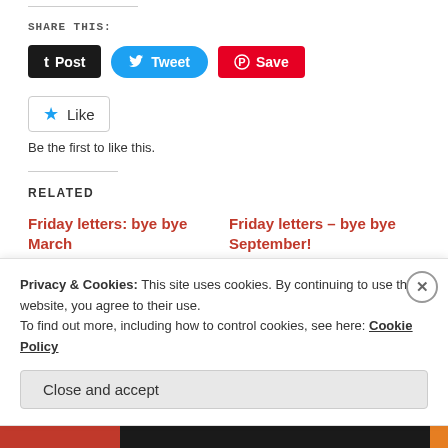SHARE THIS:
[Figure (screenshot): Social sharing buttons: Post (Tumblr, black), Tweet (Twitter, blue), Save (Pinterest, red)]
[Figure (screenshot): Like button widget with star icon]
Be the first to like this.
RELATED
Friday letters: bye bye March
Friday, 28 March 2014
In "life"
Friday letters – bye bye September!
Friday, 27 September 2013
In "life"
Privacy & Cookies: This site uses cookies. By continuing to use this website, you agree to their use.
To find out more, including how to control cookies, see here: Cookie Policy
Close and accept